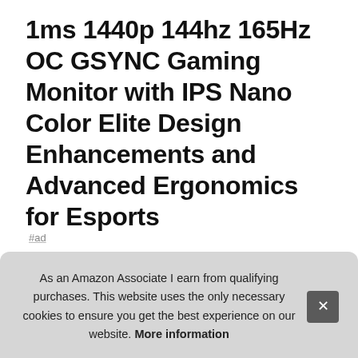1ms 1440p 144hz 165Hz OC GSYNC Gaming Monitor with IPS Nano Color Elite Design Enhancements and Advanced Ergonomics for Esports
#ad
[Figure (photo): Four product thumbnails of a gaming monitor: back view on white background, neon purple marketing image, RGB monitor on dark background, ergonomics diagram on white background]
View
sta... ses... off more of your game and it's perfect for multi monitor
As an Amazon Associate I earn from qualifying purchases. This website uses the only necessary cookies to ensure you get the best experience on our website. More information